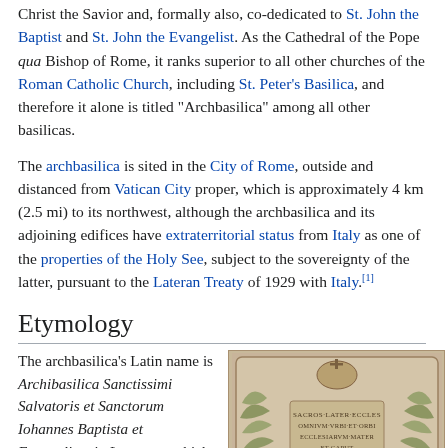Christ the Savior and, formally also, co-dedicated to St. John the Baptist and St. John the Evangelist. As the Cathedral of the Pope qua Bishop of Rome, it ranks superior to all other churches of the Roman Catholic Church, including St. Peter's Basilica, and therefore it alone is titled "Archbasilica" among all other basilicas.
The archbasilica is sited in the City of Rome, outside and distanced from Vatican City proper, which is approximately 4 km (2.5 mi) to its northwest, although the archbasilica and its adjoining edifices have extraterritorial status from Italy as one of the properties of the Holy See, subject to the sovereignty of the latter, pursuant to the Lateran Treaty of 1929 with Italy.[1]
Etymology
The archbasilica's Latin name is Archibasilica Sanctissimi Salvatoris et Sanctorum Iohannes Baptista et Evangelista in Laterano, which in English is Archbasilica of the Most
[Figure (photo): Stone tablet carving with Latin inscription related to the Lateran archbasilica, surrounded by decorative foliage and a papal coat of arms at the top center.]
Next to the formal entrance is the archbasilica's claim to be the head, or